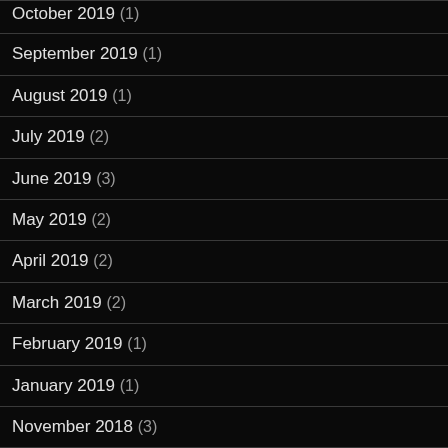October 2019 (1)
September 2019 (1)
August 2019 (1)
July 2019 (2)
June 2019 (3)
May 2019 (2)
April 2019 (2)
March 2019 (2)
February 2019 (1)
January 2019 (1)
November 2018 (3)
October 2018 (2)
September 2018 (3)